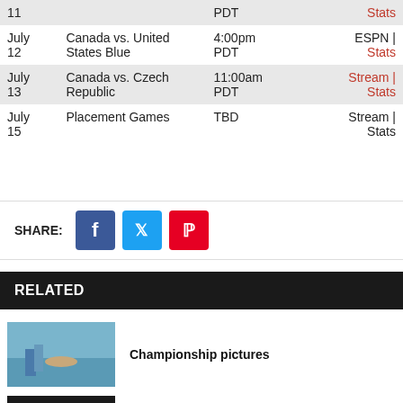| Date | Game | Time | Links |
| --- | --- | --- | --- |
| July 11 |  | PDT | Stats |
| July 12 | Canada vs. United States Blue | 4:00pm PDT | ESPN | Stats |
| July 13 | Canada vs. Czech Republic | 11:00am PDT | Stream | Stats |
| July 15 | Placement Games | TBD | Stream | Stats |
SHARE:
RELATED
[Figure (photo): Softball championship game action photo showing players at base]
Championship pictures
[Figure (photo): BC2 Langford Lightning team photo or banner]
BC2 LANGFORD LIGHTNING